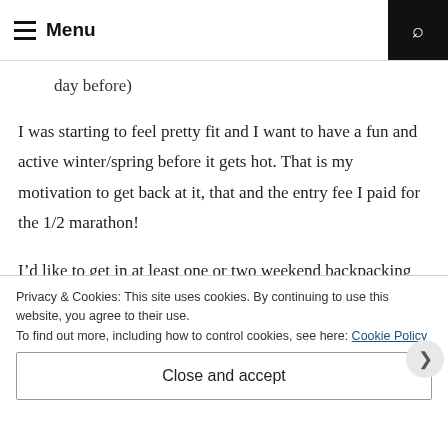Menu
day before)
I was starting to feel pretty fit and I want to have a fun and active winter/spring before it gets hot. That is my motivation to get back at it, that and the entry fee I paid for the 1/2 marathon!
I’d like to get in at least one or two weekend backpacking trip in the next few months, I’m probably only going to be able to take 1 long
Privacy & Cookies: This site uses cookies. By continuing to use this website, you agree to their use.
To find out more, including how to control cookies, see here: Cookie Policy
Close and accept